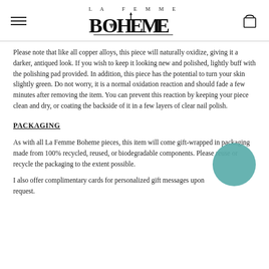LA FEMME BOHEME
Please note that like all copper alloys, this piece will naturally oxidize, giving it a darker, antiqued look. If you wish to keep it looking new and polished, lightly buff with the polishing pad provided. In addition, this piece has the potential to turn your skin slightly green. Do not worry, it is a normal oxidation reaction and should fade a few minutes after removing the item. You can prevent this reaction by keeping your piece clean and dry, or coating the backside of it in a few layers of clear nail polish.
PACKAGING
As with all La Femme Boheme pieces, this item will come gift-wrapped in packaging made from 100% recycled, reused, or biodegradable components. Please reuse or recycle the packaging to the extent possible.
I also offer complimentary cards for personalized gift messages upon request.